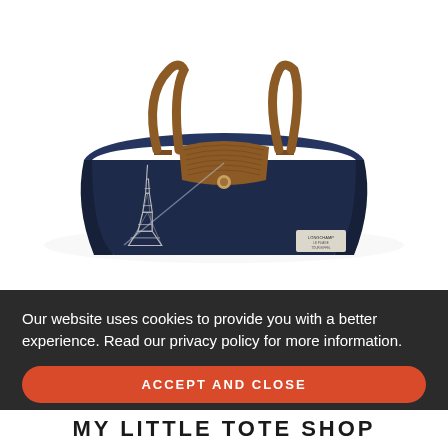[Figure (photo): A navy blue Longchamp tote bag (Le Pliage style) with brown leather handles and trim, featuring a white Eiffel Tower graphic on the front. The bag is photographed on a white background at a slight angle.]
Our website uses cookies to provide you with a better experience. Read our privacy policy for more information.
ACCEPT AND CLOSE
MY LITTLE TOTE SHOP